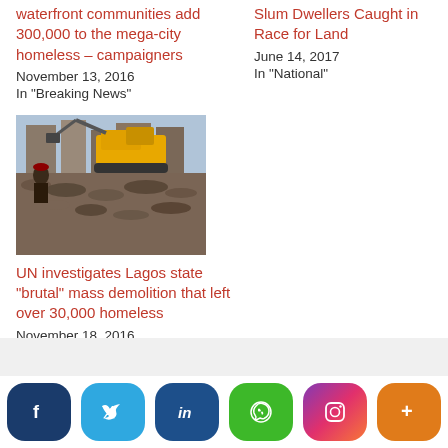waterfront communities add 300,000 to the mega-city homeless – campaigners
November 13, 2016
In "Breaking News"
Slum Dwellers Caught in Race for Land
June 14, 2017
In "National"
[Figure (photo): Excavator demolishing buildings with rubble in foreground, people visible]
UN investigates Lagos state “brutal” mass demolition that left over 30,000 homeless
November 18, 2016
In "Breaking News"